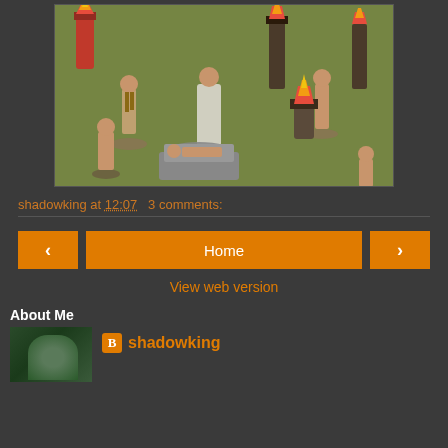[Figure (photo): Photo of painted miniature figurines on a grassy green terrain. Multiple tribal/fantasy figures with torches and totems on round and square bases. Scene appears to be a ritual setting with sacrificial altar.]
shadowking at 12:07   3 comments:
Home
View web version
About Me
shadowking